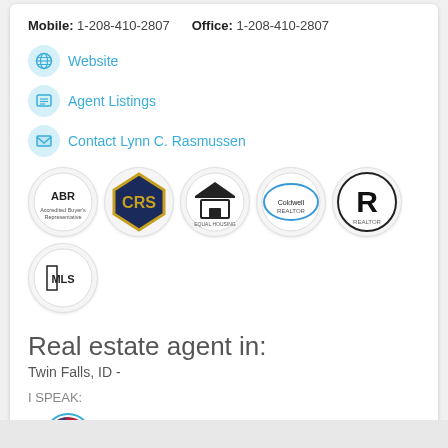Mobile: 1-208-410-2807   Office: 1-208-410-2807
Website
Agent Listings
Contact Lynn C. Rasmussen
[Figure (logo): Six certification/affiliation badges: ABR, CRS, Equal Housing, Realtor association, REALTOR, MLS]
Real estate agent in:
Twin Falls, ID -
I SPEAK:
[Figure (illustration): US flag circle icon with label English]